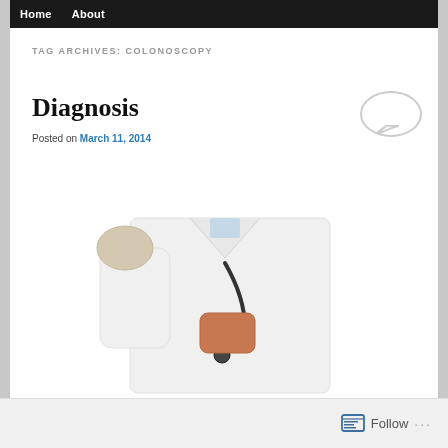Home   About
TAG ARCHIVES: COLONOSCOPY
Diagnosis
Posted on March 11, 2014
[Figure (illustration): Speech bubble icon in light gray outline style]
[Figure (photo): Doctor in white lab coat with stethoscope putting on latex gloves, shown from neck down against white background]
Follow ...